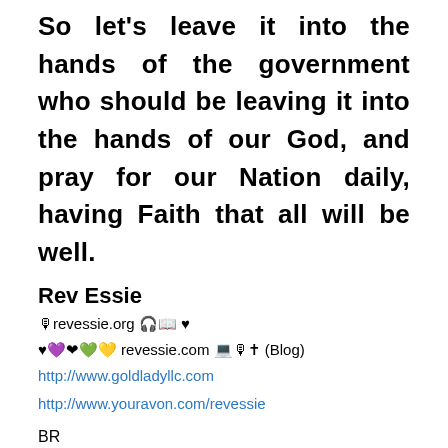So let's leave it into the hands of the government who should be leaving it into the hands of our God, and pray for our Nation daily, having Faith that all will be well.
Rev Essie
🎙revessie.org 🎧📖 ♥
♥💜❤💚💛 revessie.com 💻🎙✝ (Blog)
http://www.goldladyllc.com
http://www.youravon.com/revessie
BR